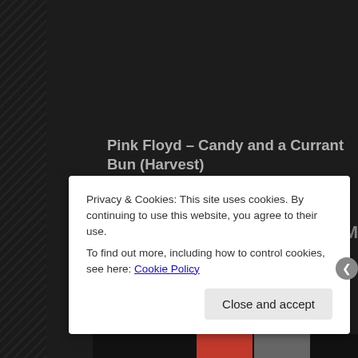Pink Floyd – Candy and a Currant Bun (Harvest)
Los Bravos – Going Nowhere (Press)
Sagittarius – Another Time (Columbia)
Phyllis Brown – Another Time (Barnaby)
Ronnie Aldrich – Ride My See Saw (London)
The Syn – Grounded (Deram)
Terry Reid – Superlungs (Epic)
Beatles Yellow Submarine Promo
The Peddlers
Privacy & Cookies: This site uses cookies. By continuing to use this website, you agree to their use.
To find out more, including how to control cookies, see here: Cookie Policy
Close and accept